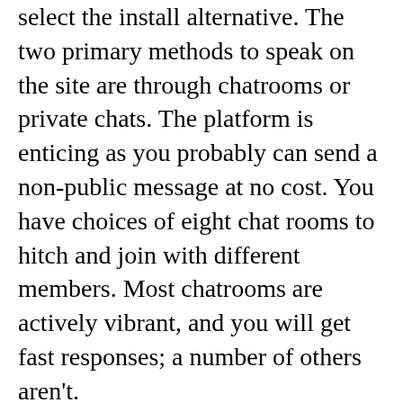select the install alternative. The two primary methods to speak on the site are through chatrooms or private chats. The platform is enticing as you probably can send a non-public message at no cost. You have choices of eight chat rooms to hitch and join with different members. Most chatrooms are actively vibrant, and you will get fast responses; a number of others aren't.
However, equivalent to the Gay Teen chatroom, it seems identical to the members are further eager on becoming a member of the LGBT+ Teens chatroom. However, there is no assure that the complete allochat members are youthful folks. Instead